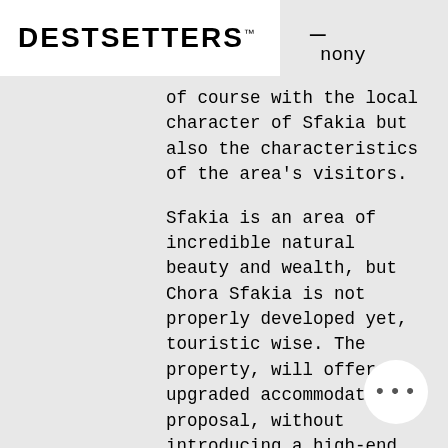DESTSETTERS™
nony of course with the local character of Sfakia but also the characteristics of the area's visitors.
Sfakia is an area of incredible natural beauty and wealth, but Chora Sfakia is not properly developed yet, touristic wise. The property, will offer an upgraded accommodation proposal, without introducing a high-end luxury experience, which would be irrelevant to the character of the settlement.
The concept of this new hotel is focused on the essence of "time slows down". We are talking about a hotel in which nothing is hasty or stressful, but everything has been set out to allow travelers to fully relax and enjoy themselves.